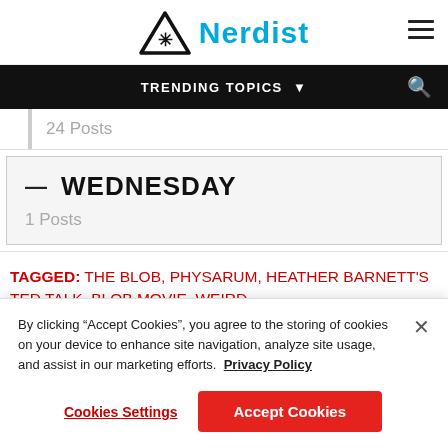Nerdist
TRENDING TOPICS
24 Posts
WEDNESDAY
1 Posts
TAGGED: THE BLOB, PHYSARUM, HEATHER BARNETT'S TED TALK, BLOB MOVIE, WEIRD
By clicking "Accept Cookies", you agree to the storing of cookies on your device to enhance site navigation, analyze site usage, and assist in our marketing efforts. Privacy Policy
Cookies Settings
Accept Cookies